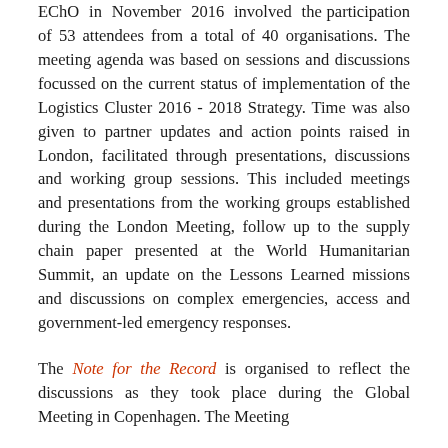EChO in November 2016 involved the participation of 53 attendees from a total of 40 organisations. The meeting agenda was based on sessions and discussions focussed on the current status of implementation of the Logistics Cluster 2016 - 2018 Strategy. Time was also given to partner updates and action points raised in London, facilitated through presentations, discussions and working group sessions. This included meetings and presentations from the working groups established during the London Meeting, follow up to the supply chain paper presented at the World Humanitarian Summit, an update on the Lessons Learned missions and discussions on complex emergencies, access and government-led emergency responses.
The Note for the Record is organised to reflect the discussions as they took place during the Global Meeting in Copenhagen. The Meeting...